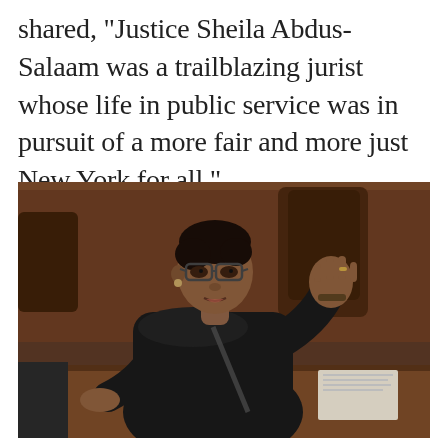shared, "Justice Sheila Abdus-Salaam was a trailblazing jurist whose life in public service was in pursuit of a more fair and more just New York for all."
[Figure (photo): A Black female judge in black judicial robes sitting at a bench, gesturing with her right hand raised, wearing glasses and earrings. She appears to be speaking. Court furniture visible in the background.]